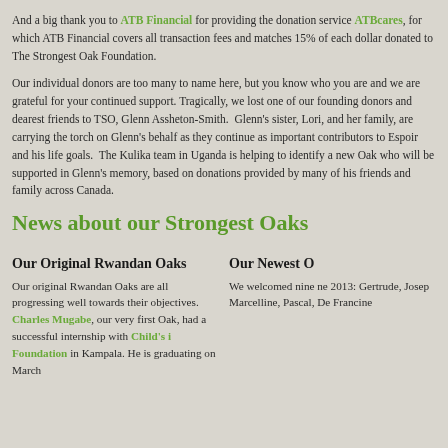And a big thank you to ATB Financial for providing the donation service ATBcares, for which ATB Financial covers all transaction fees and matches 15% of each dollar donated to The Strongest Oak Foundation.
Our individual donors are too many to name here, but you know who you are and we are grateful for your continued support. Tragically, we lost one of our founding donors and dearest friends to TSO, Glenn Assheton-Smith. Glenn's sister, Lori, and her family, are carrying the torch on Glenn's behalf as they continue as important contributors to Espoir and his life goals. The Kulika team in Uganda is helping to identify a new Oak who will be supported in Glenn's memory, based on donations provided by many of his friends and family across Canada.
News about our Strongest Oaks
Our Original Rwandan Oaks
Our original Rwandan Oaks are all progressing well towards their objectives. Charles Mugabe, our very first Oak, had a successful internship with Child's i Foundation in Kampala. He is graduating on March
Our Newest O
We welcomed nine ne 2013: Gertrude, Josep Marcelline, Pascal, De Francine